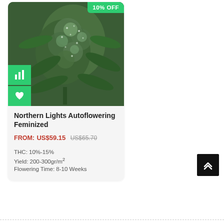[Figure (photo): Cannabis plant with dense green buds covered in trichomes, autoflowering variety. Green badge in top right corner shows 10% OFF. Two green icon buttons on lower left (bar chart icon and heart icon).]
Northern Lights Autoflowering Feminized
FROM: US$59.15 US$65.70
THC: 10%-15%
Yield: 200-300gr/m²
Flowering Time: 8-10 Weeks